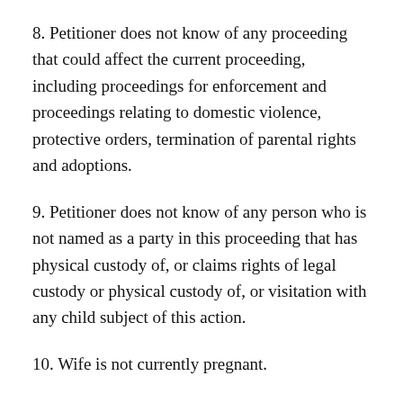8. Petitioner does not know of any proceeding that could affect the current proceeding, including proceedings for enforcement and proceedings relating to domestic violence, protective orders, termination of parental rights and adoptions.
9. Petitioner does not know of any person who is not named as a party in this proceeding that has physical custody of, or claims rights of legal custody or physical custody of, or visitation with any child subject of this action.
10. Wife is not currently pregnant.
11. Neither party has committed an act of